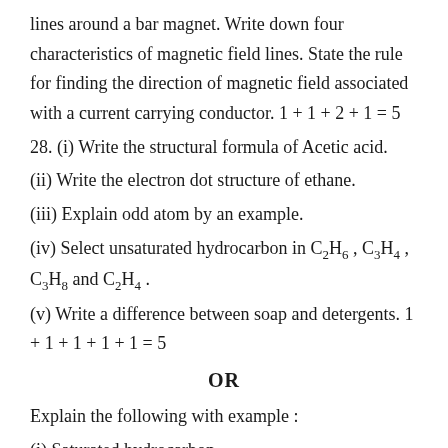lines around a bar magnet. Write down four characteristics of magnetic field lines. State the rule for finding the direction of magnetic field associated with a current carrying conductor. 1 + 1 + 2 + 1 = 5
28. (i) Write the structural formula of Acetic acid.
(ii) Write the electron dot structure of ethane.
(iii) Explain odd atom by an example.
(iv) Select unsaturated hydrocarbon in C 2 H 6 , C 3 H 4 , C 3 H 8 and C 2 H 4 .
(v) Write a difference between soap and detergents. 1 + 1 + 1 + 1 + 1 = 5
OR
Explain the following with example :
(i) Saturated hydrocarbon